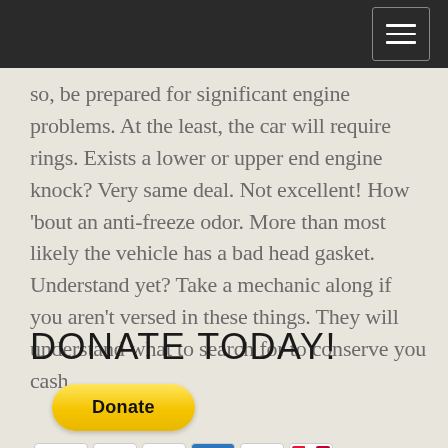[Navigation bar with hamburger menu]
so, be prepared for significant engine problems. At the least, the car will require rings. Exists a lower or upper end engine knock? Very same deal. Not excellent! How 'bout an anti-freeze odor. More than most likely the vehicle has a bad head gasket. Understand yet? Take a mechanic along if you aren't versed in these things. They will understand what to search for to conserve you cash.
DONATE TODAY!
[Figure (other): PayPal Donate button (yellow rounded rectangle) with payment card icons below: Visa, Mastercard, Maestro, American Express, Discover, UnionPay]